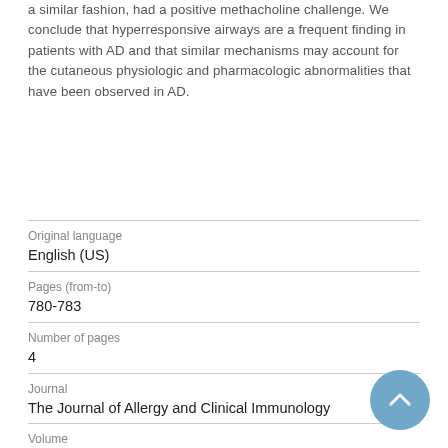a similar fashion, had a positive methacholine challenge. We conclude that hyperresponsive airways are a frequent finding in patients with AD and that similar mechanisms may account for the cutaneous physiologic and pharmacologic abnormalities that have been observed in AD.
| Field | Value |
| --- | --- |
| Original language | English (US) |
| Pages (from-to) | 780-783 |
| Number of pages | 4 |
| Journal | The Journal of Allergy and Clinical Immunology |
| Volume | 87 |